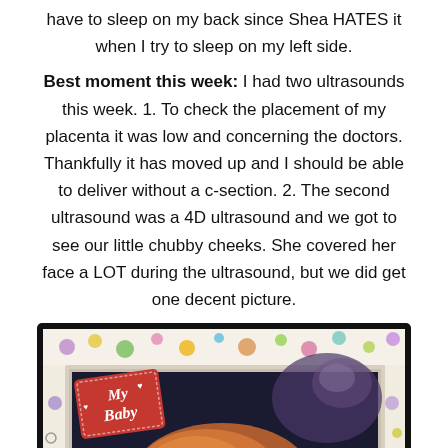have to sleep on my back since Shea HATES it when I try to sleep on my left side.

Best moment this week: I had two ultrasounds this week. 1. To check the placement of my placenta it was low and concerning the doctors. Thankfully it has moved up and I should be able to deliver without a c-section. 2. The second ultrasound was a 4D ultrasound and we got to see our little chubby cheeks. She covered her face a LOT during the ultrasound, but we did get one decent picture.
[Figure (photo): A 4D ultrasound image of a baby, shown in a decorative baby photo frame with colorful polka dots and a red 'My Baby' tag in the top-left corner. The ultrasound shows a faint orange/amber image of the baby's face against a dark blue background.]